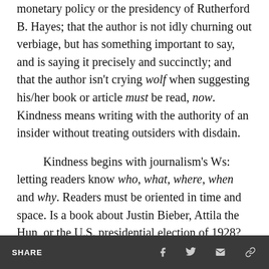monetary policy or the presidency of Rutherford B. Hayes; that the author is not idly churning out verbiage, but has something important to say, and is saying it precisely and succinctly; and that the author isn't crying wolf when suggesting his/her book or article must be read, now. Kindness means writing with the authority of an insider without treating outsiders with disdain.

Kindness begins with journalism's Ws: letting readers know who, what, where, when and why. Readers must be oriented in time and space. Is a book about Justin Bieber, Attila the Hun, or the U.S. presidential election of 1928? Some nonfiction
SHARE